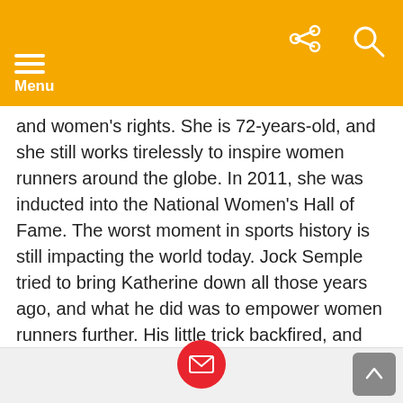Menu
and women's rights. She is 72-years-old, and she still works tirelessly to inspire women runners around the globe. In 2011, she was inducted into the National Women's Hall of Fame. The worst moment in sports history is still impacting the world today. Jock Semple tried to bring Katherine down all those years ago, and what he did was to empower women runners further. His little trick backfired, and Katherine managed to make huge strides for women in running.